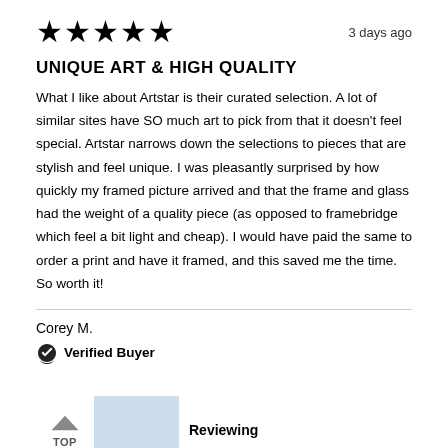[Figure (other): Five black star rating icons]
3 days ago
UNIQUE ART & HIGH QUALITY
What I like about Artstar is their curated selection. A lot of similar sites have SO much art to pick from that it doesn't feel special. Artstar narrows down the selections to pieces that are stylish and feel unique. I was pleasantly surprised by how quickly my framed picture arrived and that the frame and glass had the weight of a quality piece (as opposed to framebridge which feel a bit light and cheap). I would have paid the same to order a print and have it framed, and this saved me the time. So worth it!
Corey M.
Verified Buyer
TOP
Reviewing